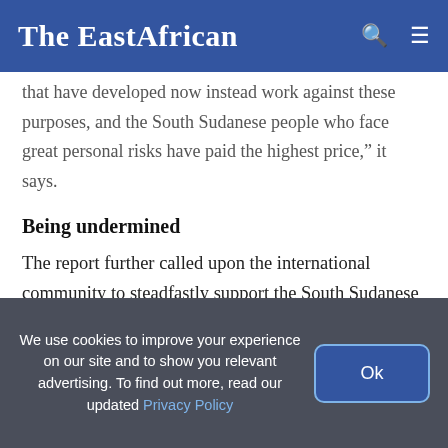The EastAfrican
that have developed now instead work against these purposes, and the South Sudanese people who face great personal risks have paid the highest price,” it says.
Being undermined
The report further called upon the international community to steadfastly support the South Sudanese people, especially those who tried to
We use cookies to improve your experience on our site and to show you relevant advertising. To find out more, read our updated Privacy Policy